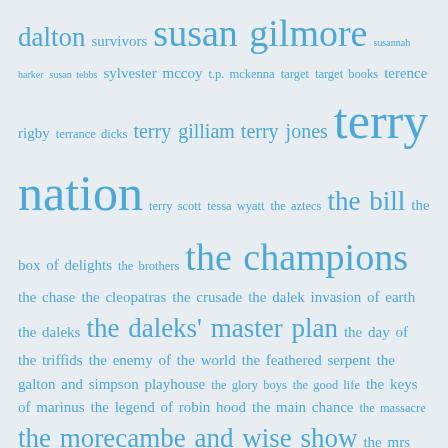dalton survivors susan gilmore susannah harker susan tebbs sylvester mccoy t.p. mckenna target target books terence rigby terrance dicks terry gilliam terry jones terry nation terry scott tessa wyatt the aztecs the bill the box of delights the brothers the champions the chase the cleopatras the crusade the dalek invasion of earth the daleks the daleks' master plan the day of the triffids the enemy of the world the feathered serpent the galton and simpson playhouse the glory boys the good life the keys of marinus the legend of robin hood the main chance the massacre the morecambe and wise show the mrs merton show the myth makers the nightmare man the quatermass experiment the reign of terror the rivals of sherlock holmes the romans the saint the sandbaggers the Sensorites the space museum the strange world of gurney slade the talons of weng-chiang the three musketeers the time meddler the trial of a timelord the two ronnies the web of fear the web planet the wheeltappers and shunters social club thorley walters tinker tailor soldier spy tom baker tom fleming tonight at 8:30 tony anholt tony hancock tony warren top of the pops